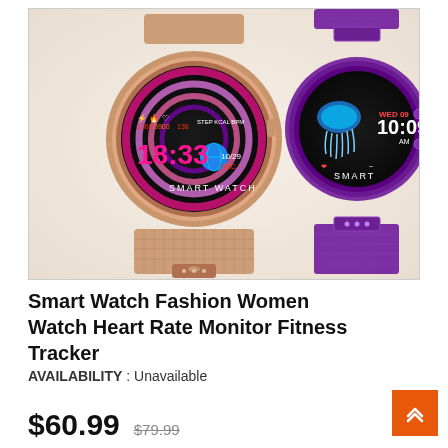[Figure (photo): Two smart watches for women — one with a rose gold mesh band displaying 18:33 on its round screen with colorful spiral design, and one with a purple mesh band showing WED 09 10:09 AM with a jellyfish image.]
Smart Watch Fashion Women Watch Heart Rate Monitor Fitness Tracker
AVAILABILITY : Unavailable
$60.99  $79.99